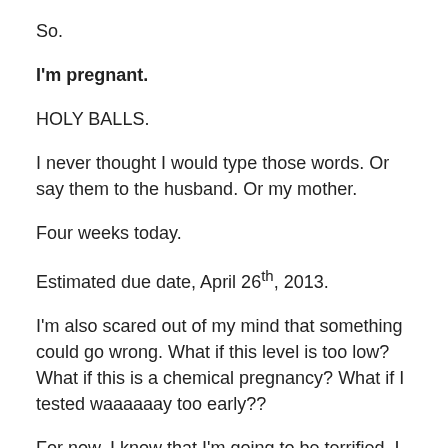So.
I'm pregnant.
HOLY BALLS.
I never thought I would type those words.  Or say them to the husband.  Or my mother.
Four weeks today.
Estimated due date, April 26th, 2013.
I'm also scared out of my mind that something could go wrong.  What if this level is too low?  What if this is a chemical pregnancy?  What if I tested waaaaaay too early??
For now, I know that I'm going to be terrified.  I can handle that, it will probably never entirely go away, but I can handle it.